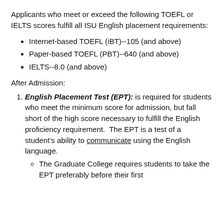Applicants who meet or exceed the following TOEFL or IELTS scores fulfill all ISU English placement requirements:
Internet-based TOEFL (iBT)--105 (and above)
Paper-based TOEFL (PBT)--640 (and above)
IELTS--8.0 (and above)
After Admission:
English Placement Test (EPT): is required for students who meet the minimum score for admission, but fall short of the high score necessary to fulfill the English proficiency requirement. The EPT is a test of a student’s ability to communicate using the English language.
The Graduate College requires students to take the EPT preferably before their first